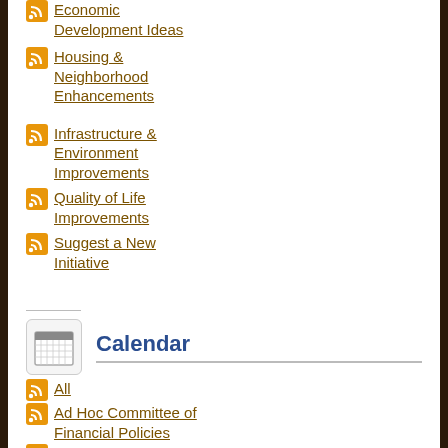Economic Development Ideas
Housing & Neighborhood Enhancements
Infrastructure & Environment Improvements
Quality of Life Improvements
Suggest a New Initiative
Calendar
All
Ad Hoc Committee of Financial Policies
Board of Review
Cable Commission
City Council and Committee of the Whole